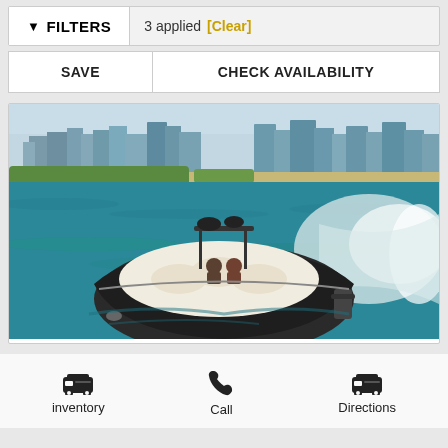FILTERS | 3 applied [Clear]
SAVE | CHECK AVAILABILITY
[Figure (photo): A dark-hulled speedboat speeding on turquoise water with Miami city skyline and beach in the background. The boat has white interior seating and two passengers visible under a T-top.]
inventory | Call | Directions